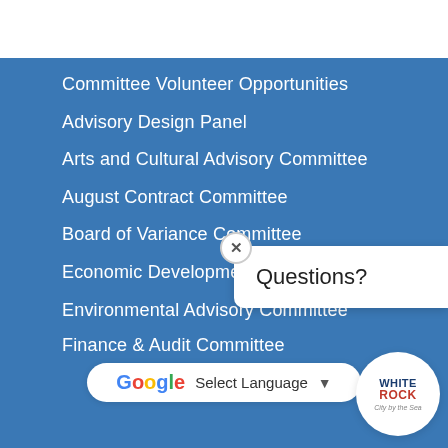Committee Volunteer Opportunities
Advisory Design Panel
Arts and Cultural Advisory Committee
August Contract Committee
Board of Variance Committee
Economic Development Advisory Committee
Environmental Advisory Committee
Finance & Audit Committee
[Figure (logo): White Rock City by the Sea circular logo]
Questions?
Select Language